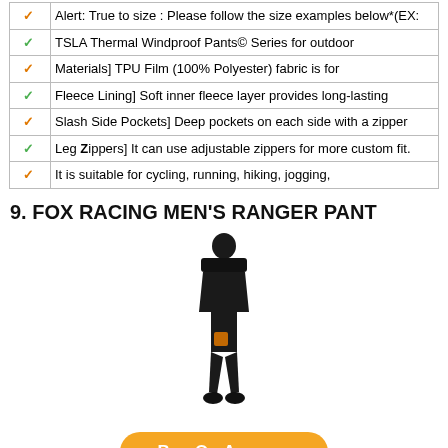Alert: True to size : Please follow the size examples below*(EX:
TSLA Thermal Windproof Pants© Series for outdoor
Materials] TPU Film (100% Polyester) fabric is for
Fleece Lining] Soft inner fleece layer provides long-lasting
Slash Side Pockets] Deep pockets on each side with a zipper
Leg Zippers] It can use adjustable zippers for more custom fit.
It is suitable for cycling, running, hiking, jogging,
9. FOX RACING MEN'S RANGER PANT
[Figure (photo): Man wearing black cycling/running pants, full body shot showing the pants from waist to feet with shoes]
Buy On Amazon